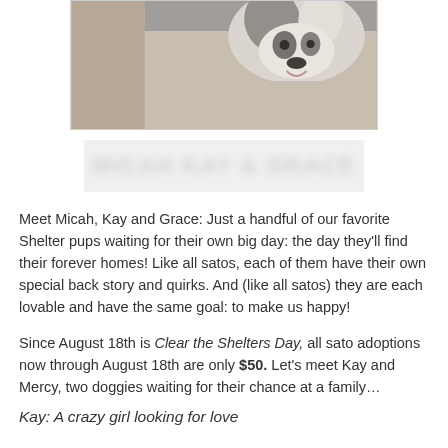[Figure (photo): Photo of a black and white dog (sato) looking up at camera, taken indoors on tile floor]
[Figure (other): Blurred/redacted text area, appears to be a heading]
Meet Micah, Kay and Grace: Just a handful of our favorite Shelter pups waiting for their own big day: the day they'll find their forever homes! Like all satos, each of them have their own special back story and quirks. And (like all satos) they are each lovable and have the same goal: to make us happy!
Since August 18th is Clear the Shelters Day, all sato adoptions now through August 18th are only $50. Let's meet Kay and Mercy, two doggies waiting for their chance at a family…
Kay: A crazy girl looking for love